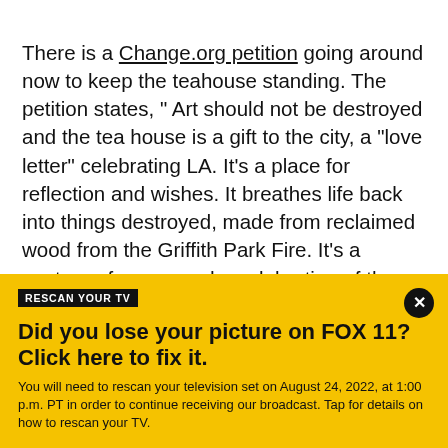There is a Change.org petition going around now to keep the teahouse standing. The petition states, " Art should not be destroyed and the tea house is a gift to the city, a "love letter" celebrating LA. It's a place for reflection and wishes. It breathes life back into things destroyed, made from reclaimed wood from the Griffith Park Fire. It's a gesture of peace and a celebration of the artists' love for Griffith Park. There should be tea houses this meaningful in every park in the world. "
RESCAN YOUR TV
Did you lose your picture on FOX 11? Click here to fix it.
You will need to rescan your television set on August 24, 2022, at 1:00 p.m. PT in order to continue receiving our broadcast. Tap for details on how to rescan your TV.